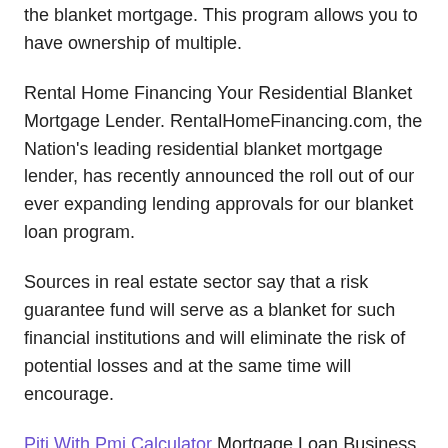the blanket mortgage. This program allows you to have ownership of multiple.
Rental Home Financing Your Residential Blanket Mortgage Lender. RentalHomeFinancing.com, the Nation's leading residential blanket mortgage lender, has recently announced the roll out of our ever expanding lending approvals for our blanket loan program.
Sources in real estate sector say that a risk guarantee fund will serve as a blanket for such financial institutions and will eliminate the risk of potential losses and at the same time will encourage.
Piti With Pmi Calculator Mortgage Loan Business SEATTLE–(BUSINESS WIRE)– HomeStreet, Inc. ^(nasdaq:hmst) (the "Company" or "HomeStreet"), the parent company of homestreet bank (the "Bank").